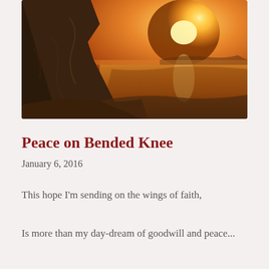[Figure (photo): A classical oil painting of a coastal sunset scene with rocky cliffs on the left, a golden sun setting on the horizon over calm water, with warm amber and orange tones throughout.]
Peace on Bended Knee
January 6, 2016
This hope I'm sending on the wings of faith,
Is more than my day-dream of goodwill and peace...